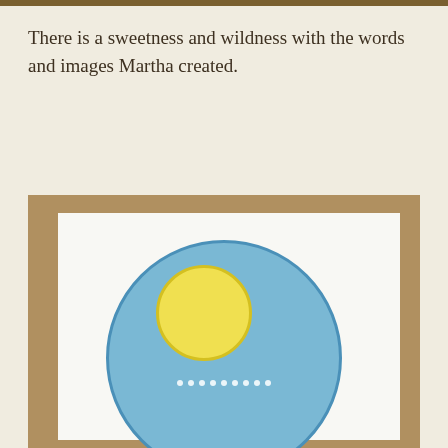There is a sweetness and wildness with the words and images Martha created.
[Figure (photo): A handmade artwork on torn white paper mounted on a tan/brown cardboard background. The artwork features a large blue circle (representing sky or moon) with a yellow circle (sun) in the upper-left portion of the blue circle. Small white dots appear near the bottom of the blue circle, suggesting text or decorative elements.]